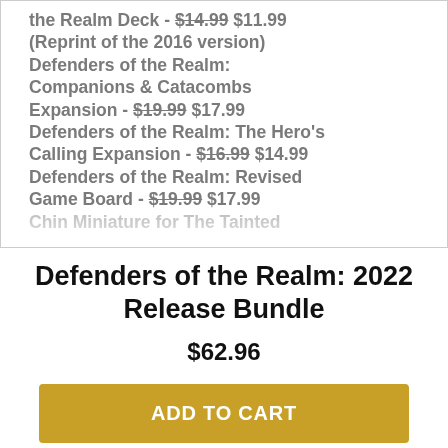the Realm Deck - $14.99 $11.99 (Reprint of the 2016 version) Defenders of the Realm: Companions & Catacombs Expansion - $19.99 $17.99 Defenders of the Realm: The Hero's Calling Expansion - $16.99 $14.99 Defenders of the Realm: Revised Game Board - $19.99 $17.99
Defenders of the Realm: 2022 Release Bundle
$62.96
ADD TO CART